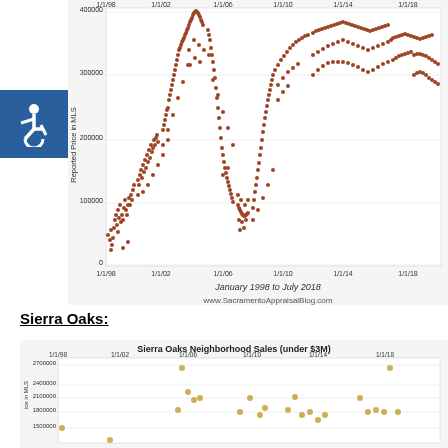[Figure (continuous-plot): Scatter plot of home sales prices (Reported Price in MLS) from January 1998 to July 2018. Y-axis: 0 to 400000. X-axis dates: 1/1/98, 1/1/02, 1/1/06, 1/1/10, 1/1/14, 1/1/18. Dense cluster of brown/orange dots showing a rise from ~100000 in 1998 to ~350000 peak around 2006, then a fall to ~100000 around 2011, then a rise back to ~300000+ by 2018.]
Sierra Oaks:
[Figure (continuous-plot): Scatter plot of Sierra Oaks neighborhood home sales prices (under $3M) from 1998 to 2018. Y-axis: ~1500000 to 2700000+ visible. X-axis: 1/1/98, 1/1/02, 1/1/06, 1/1/10, 1/1/14, 1/1/18. Sparse golden/tan dots showing scattered high-value sales with a peak near 2006 and another high around 2018.]